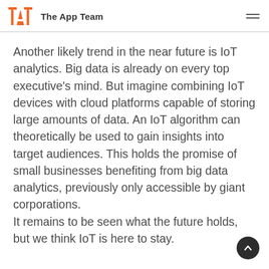TAT The App Team
Another likely trend in the near future is IoT analytics. Big data is already on every top executive's mind. But imagine combining IoT devices with cloud platforms capable of storing large amounts of data. An IoT algorithm can theoretically be used to gain insights into target audiences. This holds the promise of small businesses benefiting from big data analytics, previously only accessible by giant corporations. It remains to be seen what the future holds, but we think IoT is here to stay.